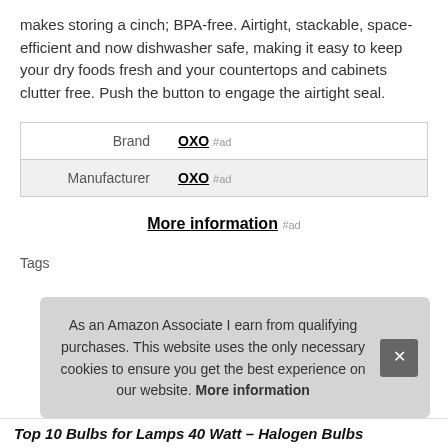makes storing a cinch; BPA-free. Airtight, stackable, space-efficient and now dishwasher safe, making it easy to keep your dry foods fresh and your countertops and cabinets clutter free. Push the button to engage the airtight seal.
|  |  |
| --- | --- |
| Brand | OXO #ad |
| Manufacturer | OXO #ad |
More information #ad
Tags
As an Amazon Associate I earn from qualifying purchases. This website uses the only necessary cookies to ensure you get the best experience on our website. More information
Top 10 Bulbs for Lamps 40 Watt – Halogen Bulbs